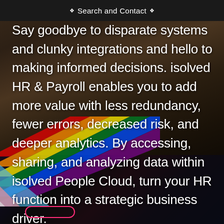❖  Search and Contact  ❖
Say goodbye to disparate systems and clunky integrations and hello to making informed decisions. isolved HR & Payroll enables you to add more value with less redundancy, fewer errors, decreased risk, and deeper analytics. By accessing, sharing, and analyzing data within isolved People Cloud, turn your HR function into a strategic business driver.
[Figure (photo): Background photo of a person, overlaid with a colorful rainbow/diversity flag graphic in the lower portion of the image.]